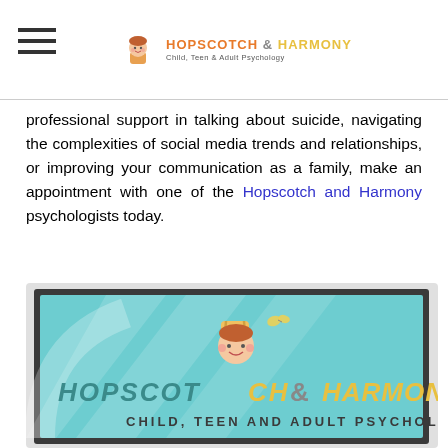Hopscotch & Harmony — Child, Teen & Adult Psychology
professional support in talking about suicide, navigating the complexities of social media trends and relationships, or improving your communication as a family, make an appointment with one of the Hopscotch and Harmony psychologists today.
[Figure (logo): Hopscotch and Harmony logo image showing a cartoon child, teal background with the text HOPSCOTCH & HARMONY, Child, Teen and Adult Psychology]